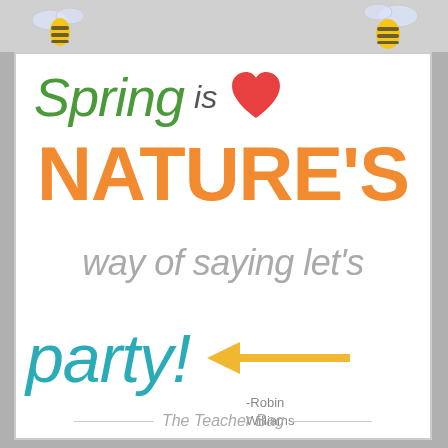[Figure (illustration): Top strip with bee clipart illustrations on left and right sides against a light gray background]
Spring is ♥ NATURE'S way of saying let's party! -Robin Williams
The Teacher Bag